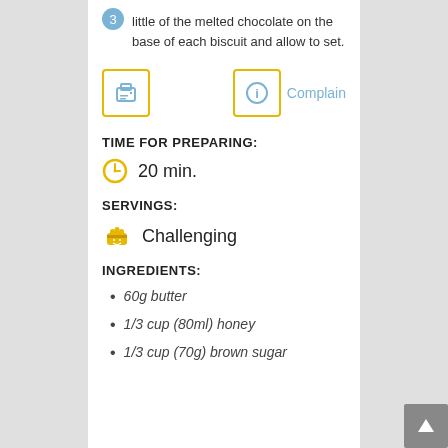little of the melted chocolate on the base of each biscuit and allow to set.
TIME FOR PREPARING:
20 min.
SERVINGS:
Challenging
INGREDIENTS:
60g butter
1/3 cup (80ml) honey
1/3 cup (70g) brown sugar